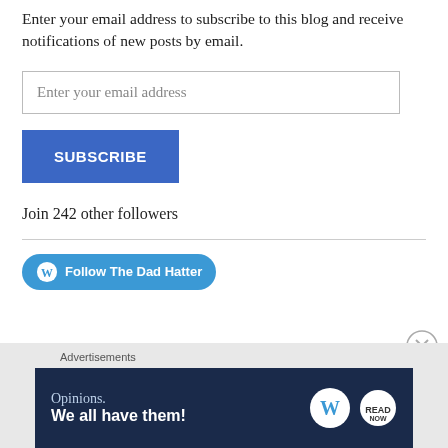Enter your email address to subscribe to this blog and receive notifications of new posts by email.
Enter your email address
SUBSCRIBE
Join 242 other followers
[Figure (logo): WordPress Follow button with text 'Follow The Dad Hatter']
Advertisements
[Figure (screenshot): WordPress advertisement banner: 'Opinions. We all have them!' with WordPress and NOW logos on dark navy background]